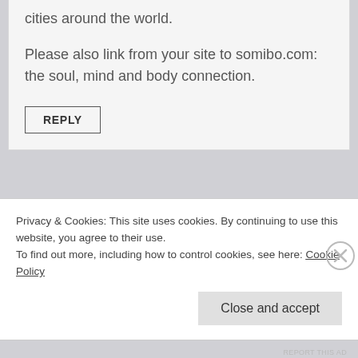cities around the world.
Please also link from your site to somibo.com: the soul, mind and body connection.
REPLY
Privacy & Cookies: This site uses cookies. By continuing to use this website, you agree to their use.
To find out more, including how to control cookies, see here: Cookie Policy
Close and accept